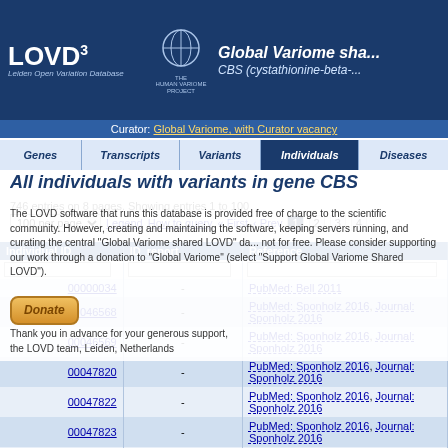LOVD3 Global Variome shared database - CBS (cystathionine-beta-...)
Curator: Global Variome, with Curator vacancy
All individuals with variants in gene CBS
746 entries on 8 pages. Showing entries 1 to 100
The LOVD software that runs this database is provided free of charge to the scientific community. However, creating and maintaining the software, keeping servers running, and curating the central "Global Variome shared LOVD" da... not for free. Please consider supporting our work through a donation to "Global Variome" (select "Support Global Variome Shared LOVD").

Thank you in advance for your generous support,
the LOVD team, Leiden, Netherlands
| Individual ID | ID_report | Reference |
| --- | --- | --- |
| 00000034 | - | PubMed: Bell 2011 |
| 00046568 | - | PubMed: Sponholz 2016, Journal: Sponholz 2016 |
| 00046569 | - | PubMed: Sponholz 2016, Journal: Sponholz 2016 |
| 00047820 | - | PubMed: Sponholz 2016, Journal: Sponholz 2016 |
| 00047822 | - | PubMed: Sponholz 2016, Journal: Sponholz 2016 |
| 00047823 | - | PubMed: Sponholz 2016, Journal: Sponholz 2016 |
| 00047824 | - | PubMed: Sponholz 2016, Journal: Sponholz 2016 |
| 00047825 | - | PubMed: Sponholz 2016, Journal: Sponholz 2016 |
| 00047826 | - | PubMed: Sponholz 2016, Journal: Sponholz 2016 |
| 00047827 | - | PubMed: Sponholz 2016, Journal: ... |